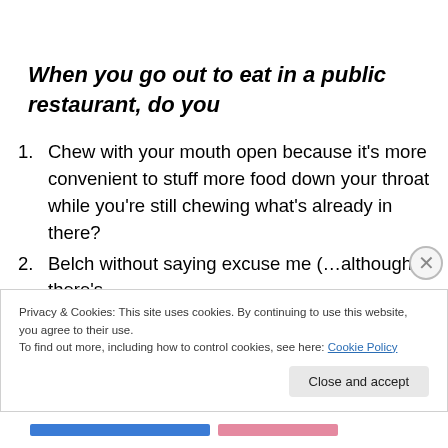When you go out to eat in a public restaurant, do you
Chew with your mouth open because it's more convenient to stuff more food down your throat while you're still chewing what's already in there?
Belch without saying excuse me (…although there's
Privacy & Cookies: This site uses cookies. By continuing to use this website, you agree to their use. To find out more, including how to control cookies, see here: Cookie Policy
Close and accept